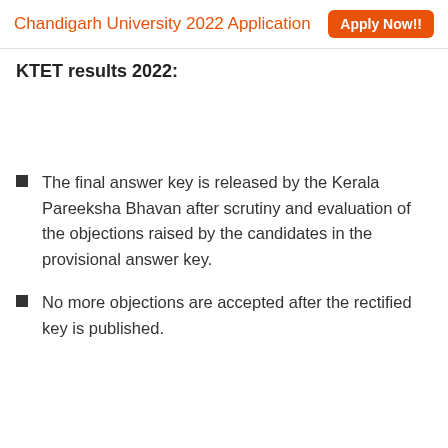Chandigarh University 2022 Application  Apply Now!!
KTET results 2022:
The final answer key is released by the Kerala Pareeksha Bhavan after scrutiny and evaluation of the objections raised by the candidates in the provisional answer key.
No more objections are accepted after the rectified key is published.